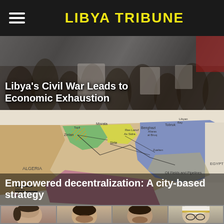LIBYA TRIBUNE
Libya's Civil War Leads to Economic Exhaustion
[Figure (photo): Crowd of people at a protest or public gathering, photo used as article header background]
Empowered decentralization: A city-based strategy
[Figure (map): Map of Libya showing oil fields and pipelines, with regions color-coded, bordering Algeria and Egypt, with city labels including Misrata, Sirte, Benghazi, Tobruk]
[Figure (photo): Four headshot photographs of men shown side by side in a grid layout at the bottom of the page]